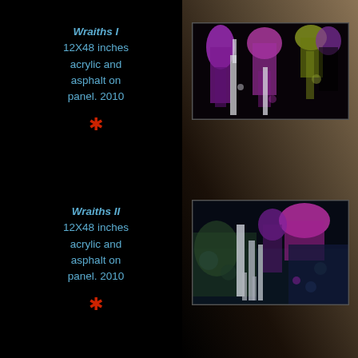Wraiths I
12X48 inches acrylic and asphalt on panel. 2010
[Figure (illustration): Abstract painting showing ghostly vertical figures in purple, magenta, white, and olive/yellow-green against a dark black background, with paint dripping down]
Wraiths II
12X48 inches acrylic and asphalt on panel. 2010
[Figure (illustration): Abstract painting showing ghostly vertical figures in purple, magenta, white, and blue-green against a dark navy/black background, similar style to Wraiths I]